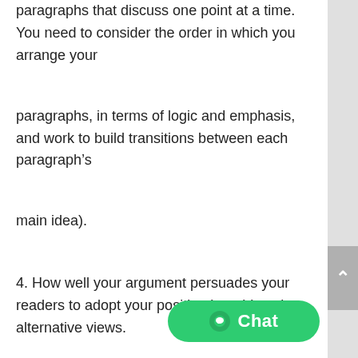paragraphs that discuss one point at a time. You need to consider the order in which you arrange your
paragraphs, in terms of logic and emphasis, and work to build transitions between each paragraph's
main idea).
4. How well your argument persuades your readers to adopt your position by addressing alternative views.
5. Overall presentation and readability your work (format, spelling, grammar,